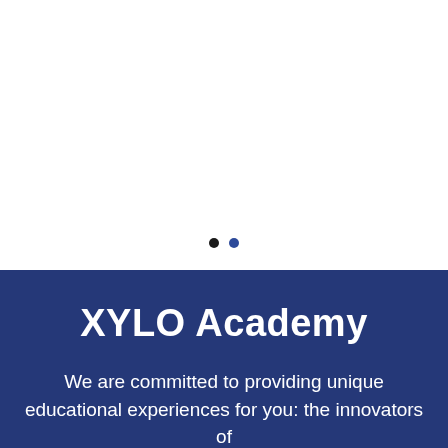[Figure (other): White blank area at top of page, carousel slide area]
[Figure (infographic): Two navigation dots: one dark/black and one dark blue, indicating a carousel slide indicator]
XYLO Academy
We are committed to providing unique educational experiences for you: the innovators of the future.